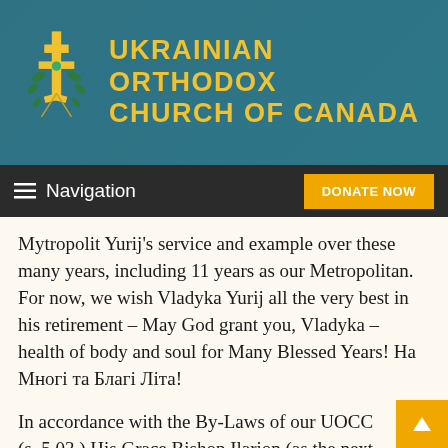UKRAINIAN ORTHODOX CHURCH OF CANADA
Navigation | DONATE NOW
Mytropolit Yurij’s service and example over these many years, including 11 years as our Metropolitan. For now, we wish Vladyka Yurij all the very best in his retirement – May God grant you, Vladyka – health of body and soul for Many Blessed Years! На Многі та Благі Літа!
In accordance with the By-Laws of our UOCC (s. 5.03,) His Grace Bishop Ilarion (as the next ranking senior Bishop,) shall serve in that office (of the